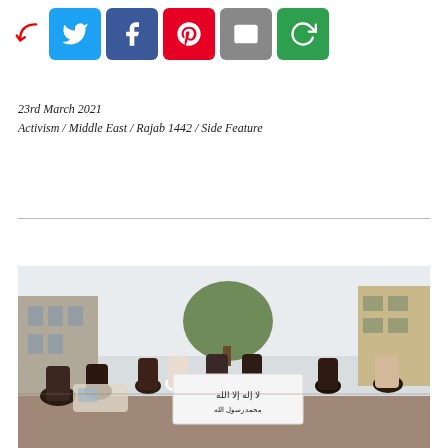[Figure (other): Social sharing bar with arrow icon, Twitter (blue), Facebook (dark blue), Pinterest (red), Email (grey), and share (green) buttons]
23rd March 2021
Activism / Middle East / Rajab 1442 / Side Feature
[Figure (photo): Outdoor street protest photo showing a group of people holding a white banner with Arabic text (shahada/Islamic text), buildings and trees in the background]